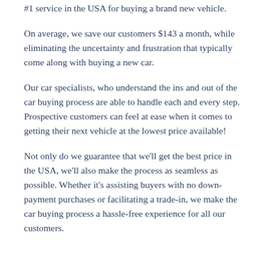#1 service in the USA for buying a brand new vehicle.
On average, we save our customers $143 a month, while eliminating the uncertainty and frustration that typically come along with buying a new car.
Our car specialists, who understand the ins and out of the car buying process are able to handle each and every step. Prospective customers can feel at ease when it comes to getting their next vehicle at the lowest price available!
Not only do we guarantee that we'll get the best price in the USA, we'll also make the process as seamless as possible. Whether it's assisting buyers with no down-payment purchases or facilitating a trade-in, we make the car buying process a hassle-free experience for all our customers.